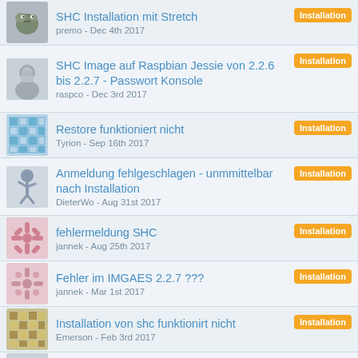SHC Installation mit Stretch
premo - Dec 4th 2017
Installation
SHC Image auf Raspbian Jessie von 2.2.6 bis 2.2.7 - Passwort Konsole
raspco - Dec 3rd 2017
Installation
Restore funktioniert nicht
Tyrion - Sep 16th 2017
Installation
Anmeldung fehlgeschlagen - unmmittelbar nach Installation
DieterWo - Aug 31st 2017
Installation
fehlermeldung SHC
jannek - Aug 25th 2017
Installation
Fehler im IMGAES 2.2.7 ???
jannek - Mar 1st 2017
Installation
Installation von shc funktionirt nicht
Emerson - Feb 3rd 2017
Installation
Login und SHC-Website scheint nicht zu funktionieren
Installation